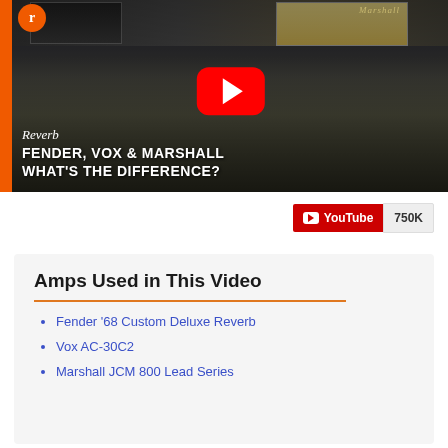[Figure (screenshot): YouTube video thumbnail from Reverb channel: 'Fender, Vox & Marshall – What's the Difference?' showing a man sitting in front of guitar amplifiers with the Reverb logo and a YouTube play button overlay]
[Figure (screenshot): YouTube subscriber/view badge showing YouTube logo button and '750K' count]
Amps Used in This Video
Fender '68 Custom Deluxe Reverb
Vox AC-30C2
Marshall JCM 800 Lead Series